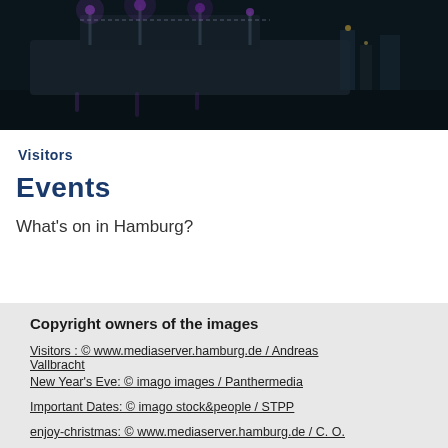[Figure (photo): Nighttime harbor photo of Hamburg showing a large ship with purple/blue lights and reflections on the water]
Visitors
Events
What's on in Hamburg?
Copyright owners of the images
Visitors : © www.mediaserver.hamburg.de / Andreas Vallbracht
New Year's Eve: © imago images / Panthermedia
Important Dates: © imago stock&people / STPP
enjoy-christmas: © www.mediaserver.hamburg.de / C. O.